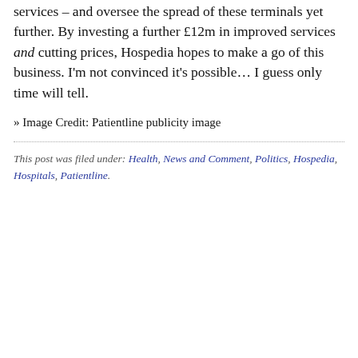services – and oversee the spread of these terminals yet further. By investing a further £12m in improved services and cutting prices, Hospedia hopes to make a go of this business. I'm not convinced it's possible… I guess only time will tell.
» Image Credit: Patientline publicity image
This post was filed under: Health, News and Comment, Politics, Hospedia, Hospitals, Patientline.